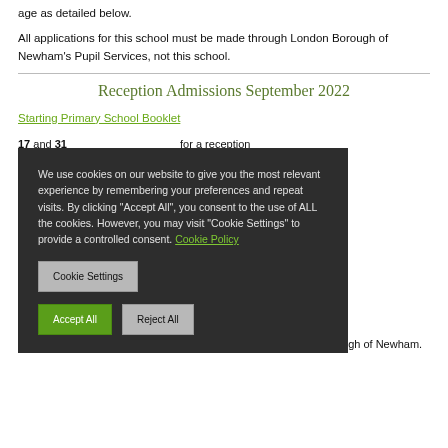age as detailed below.
All applications for this school must be made through London Borough of Newham's Pupil Services, not this school.
Reception Admissions September 2022
Starting Primary School Booklet
...17 and 31 ...for a reception ...the academic
...tion ...ry 2022.
...n applicants is
...e through the
For children living in Newham families must apply via London Borough of Newham.
Cookie consent notice: We use cookies on our website to give you the most relevant experience by remembering your preferences and repeat visits. By clicking "Accept All", you consent to the use of ALL the cookies. However, you may visit "Cookie Settings" to provide a controlled consent. Cookie Policy